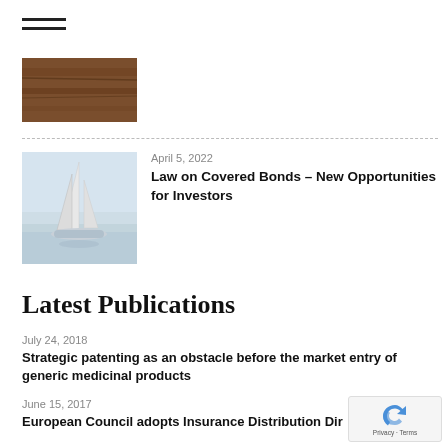[Figure (other): Hamburger menu icon with two horizontal lines]
[Figure (photo): Partial image of wooden interior, cropped at top]
[Figure (photo): Sailing yacht with tall white sails against a light sky]
April 5, 2022
Law on Covered Bonds – New Opportunities for Investors
Latest Publications
July 24, 2018
Strategic patenting as an obstacle before the market entry of generic medicinal products
June 15, 2017
European Council adopts Insurance Distribution Dir